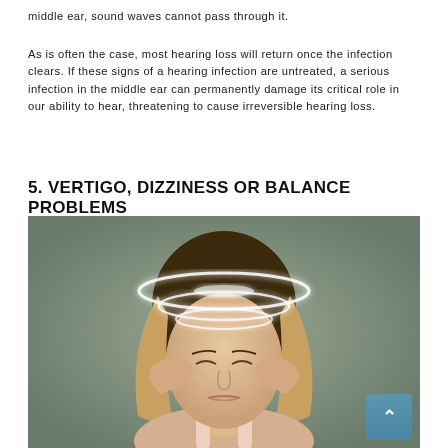middle ear, sound waves cannot pass through it.
As is often the case, most hearing loss will return once the infection clears. If these signs of a hearing infection are untreated, a serious infection in the middle ear can permanently damage its critical role in our ability to hear, threatening to cause irreversible hearing loss.
5. VERTIGO, DIZZINESS OR BALANCE PROBLEMS
[Figure (photo): Woman with closed eyes holding her temples with both hands, with glowing white spiral rings around her head suggesting vertigo or dizziness. Background is grey-green.]